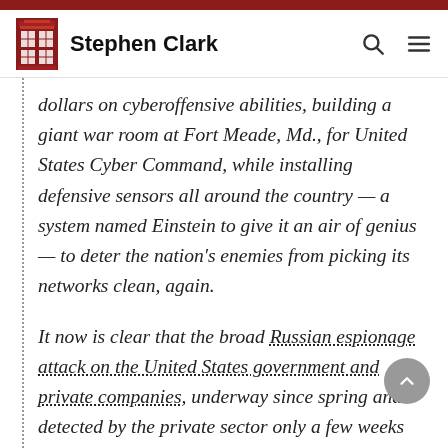Stephen Clark
dollars on cyberoffensive abilities, building a giant war room at Fort Meade, Md., for United States Cyber Command, while installing defensive sensors all around the country — a system named Einstein to give it an air of genius — to deter the nation's enemies from picking its networks clean, again.
It now is clear that the broad Russian espionage attack on the United States government and private companies, underway since spring and detected by the private sector only a few weeks ago, ranks among the greatest intelligence failures of modern times.